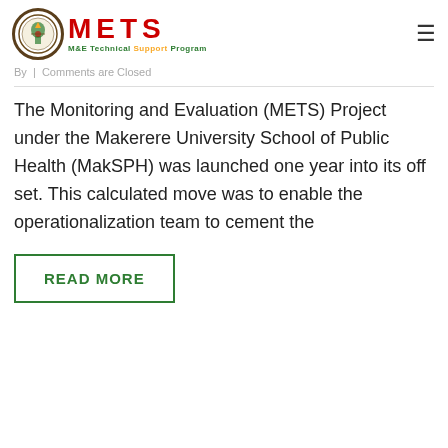[Figure (logo): METS M&E Technical Support Program logo with circular emblem and red METS letters]
By | Comments are Closed
The Monitoring and Evaluation (METS) Project under the Makerere University School of Public Health (MakSPH) was launched one year into its off set. This calculated move was to enable the operationalization team to cement the
READ MORE